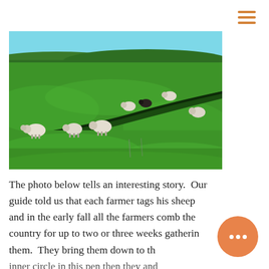[Figure (photo): Photograph of sheep grazing on a wide green grassy field with a shallow ravine or ditch cutting diagonally across the landscape. Light blue sky visible at the top. Several white sheep are scattered across the green pasture.]
The photo below tells an interesting story.  Our guide told us that each farmer tags his sheep and in the early fall all the farmers comb the country for up to two or three weeks gathering them.  They bring them down to the inner circle in this pen then they and